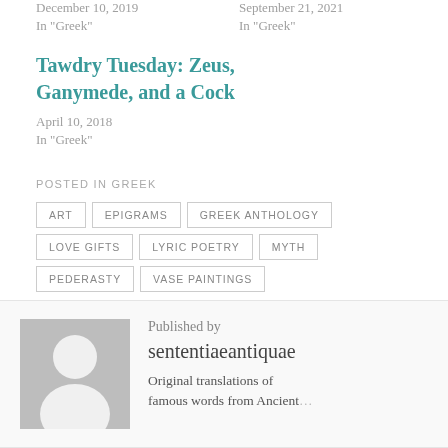December 10, 2019
In "Greek"
September 21, 2021
In "Greek"
Tawdry Tuesday: Zeus, Ganymede, and a Cock
April 10, 2018
In "Greek"
POSTED IN GREEK
ART
EPIGRAMS
GREEK ANTHOLOGY
LOVE GIFTS
LYRIC POETRY
MYTH
PEDERASTY
VASE PAINTINGS
Published by
sententiaeantiquae
Original translations of famous words from Ancient...